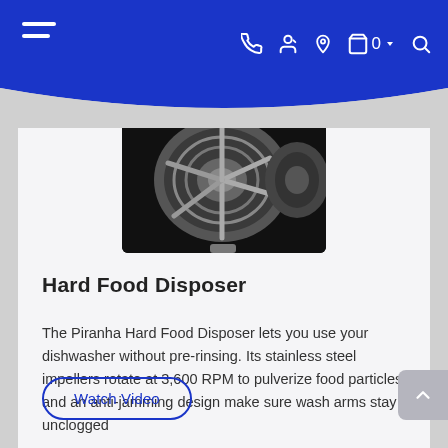Navigation bar with hamburger menu, phone, account, location, cart (0), and search icons
[Figure (photo): Close-up grayscale photograph of the Piranha Hard Food Disposer mechanism showing stainless steel impeller blades and gear components against a dark background]
Hard Food Disposer
The Piranha Hard Food Disposer lets you use your dishwasher without pre-rinsing. Its stainless steel impellers rotate at 3,600 RPM to pulverize food particles and an anti-jamming design make sure wash arms stay unclogged
Watch Video